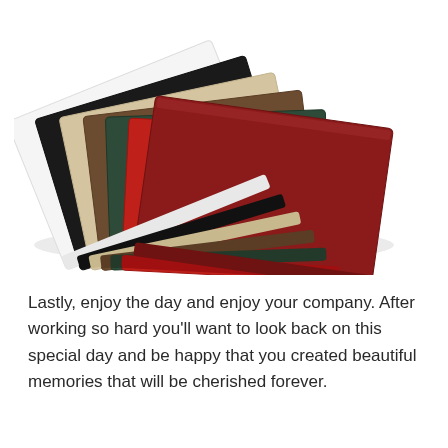[Figure (photo): A stack of folded fabric napkins or cloth squares fanned out, showing multiple colors including white, black, beige/tan, brown, dark green, red, and dark crimson/burgundy on top, photographed on a white background.]
Lastly, enjoy the day and enjoy your company. After working so hard you'll want to look back on this special day and be happy that you created beautiful memories that will be cherished forever.